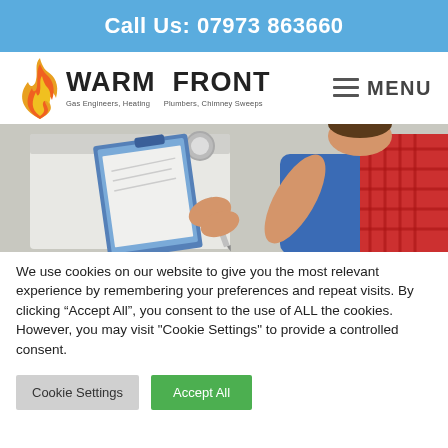Call Us: 07973 863660
[Figure (logo): Warm Front logo with flame icon. Text reads: WARM FRONT, Gas Engineers, Heating, Plumbers, Chimney Sweeps]
[Figure (photo): Engineer in blue overalls and red checked shirt writing on a clipboard next to a boiler]
We use cookies on our website to give you the most relevant experience by remembering your preferences and repeat visits. By clicking “Accept All”, you consent to the use of ALL the cookies. However, you may visit "Cookie Settings" to provide a controlled consent.
Cookie Settings | Accept All